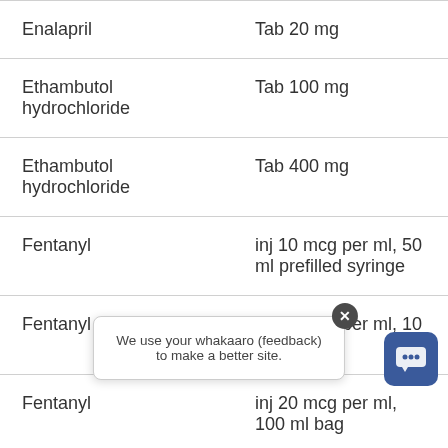| Medicine | Form |
| --- | --- |
| Enalapril | Tab 20 mg |
| Ethambutol hydrochloride | Tab 100 mg |
| Ethambutol hydrochloride | Tab 400 mg |
| Fentanyl | inj 10 mcg per ml, 50 ml prefilled syringe |
| Fentanyl | inj 10 mcg per ml, 10 ml syringe |
| Fentanyl | inj 20 mcg per ml, 100 ml bag |
We use your whakaaro (feedback) to make a better site.